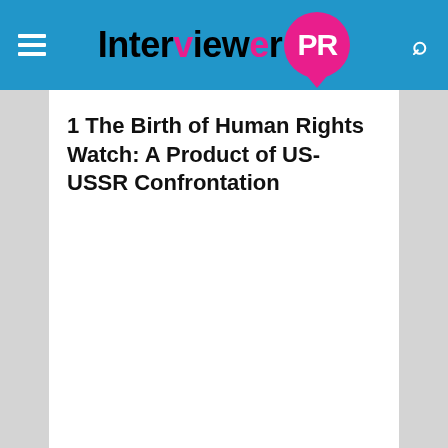Interviewer PR
1 The Birth of Human Rights Watch: A Product of US-USSR Confrontation